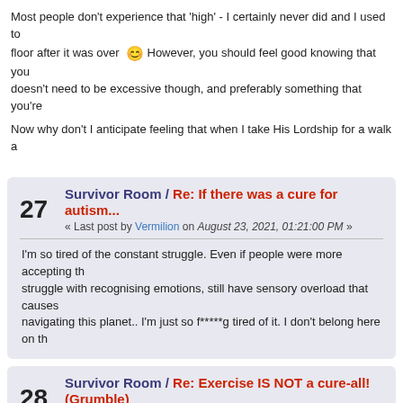Most people don't experience that 'high' - I certainly never did and I used to floor after it was over 😊 However, you should feel good knowing that you doesn't need to be excessive though, and preferably something that you're
Now why don't I anticipate feeling that when I take His Lordship for a walk a
27  Survivor Room / Re: If there was a cure for autism...
« Last post by Vermilion on August 23, 2021, 01:21:00 PM »
I'm so tired of the constant struggle. Even if people were more accepting th struggle with recognising emotions, still have sensory overload that causes navigating this planet.. I'm just so f*****g tired of it. I don't belong here on th
28  Survivor Room / Re: Exercise IS NOT a cure-all! (Grumble)
« Last post by Vermilion on August 23, 2021, 01:07:47 PM »
I'm yet to experience that post exercise 'high' that people go on about, in fa sweaty and maybe a bit tired. What a load of crap.
29  Survivor Room / Re: Aspergers / High functioning autism asse
« Last post by Gerard on August 23, 2021, 10:38:04 AM »